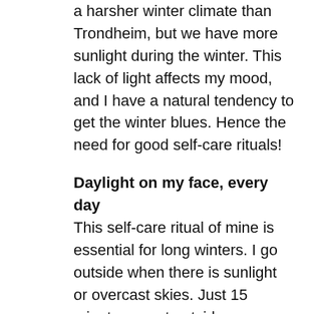a harsher winter climate than Trondheim, but we have more sunlight during the winter. This lack of light affects my mood, and I have a natural tendency to get the winter blues. Hence the need for good self-care rituals!
Daylight on my face, every day
This self-care ritual of mine is essential for long winters. I go outside when there is sunlight or overcast skies. Just 15 minutes spent outside, every day, can improve my mood. It is also a way to take a break during work and study, to feel the warmth of sunlight. I also have a daylight lamp in my bathroom that I turn on every day as I get ready during the darkest months of